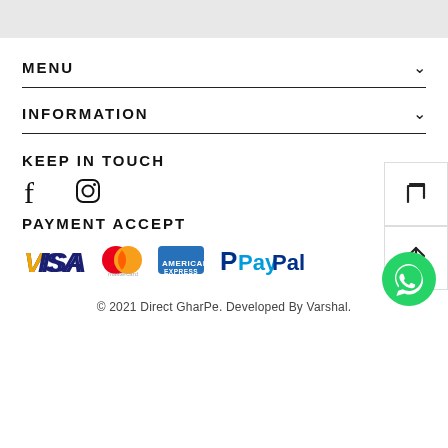MENU
INFORMATION
KEEP IN TOUCH
[Figure (illustration): Facebook and Instagram social media icons]
PAYMENT ACCEPT
[Figure (illustration): Payment method logos: VISA, Mastercard, American Express, PayPal]
© 2021 Direct GharPe. Developed By Varshal.